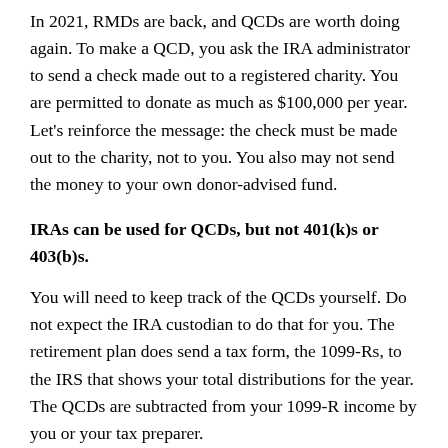In 2021, RMDs are back, and QCDs are worth doing again. To make a QCD, you ask the IRA administrator to send a check made out to a registered charity. You are permitted to donate as much as $100,000 per year. Let's reinforce the message: the check must be made out to the charity, not to you. You also may not send the money to your own donor-advised fund.
IRAs can be used for QCDs, but not 401(k)s or 403(b)s.
You will need to keep track of the QCDs yourself. Do not expect the IRA custodian to do that for you. The retirement plan does send a tax form, the 1099-Rs, to the IRS that shows your total distributions for the year. The QCDs are subtracted from your 1099-R income by you or your tax preparer.
It sounds great, but there is a problem, created by the SECURE Act of 2019. That law let people aged 70½ and older make tax-deductible contributions to their IRAs. However, if you make a tax-deductible contribution to your IRA that you use for a QCD,